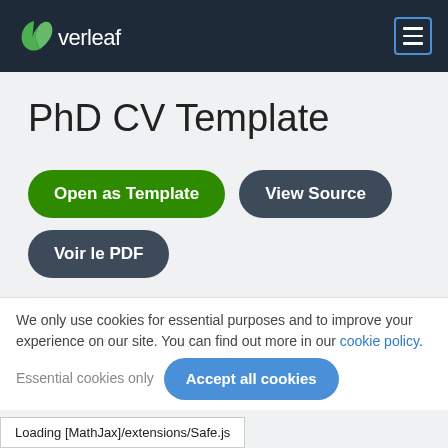Overleaf
PhD CV Template
Open as Template
View Source
Voir le PDF
Author
Gaurav Tripathi, Mohit Singh
We only use cookies for essential purposes and to improve your experience on our site. You can find out more in our cookie policy.
Essential cookies only    Accept all cookies
Loading [MathJax]/extensions/Safe.js